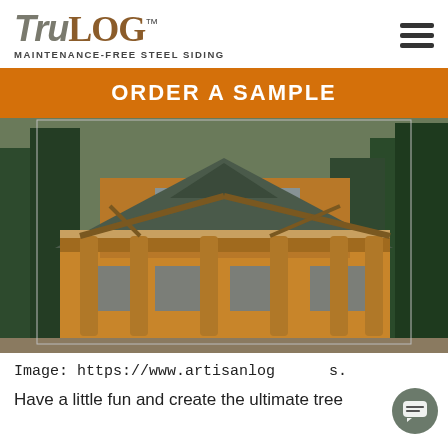[Figure (logo): TruLog logo with 'Tru' in grey italic and 'Log' in brown serif uppercase, with TM superscript, and tagline 'MAINTENANCE-FREE STEEL SIDING' below]
ORDER A SAMPLE
[Figure (photo): Large two-story log cabin home with metal roof, wraparound deck, wooden pillars, and forest backdrop]
Image: https://www.artisanlog s.
Have a little fun and create the ultimate tree